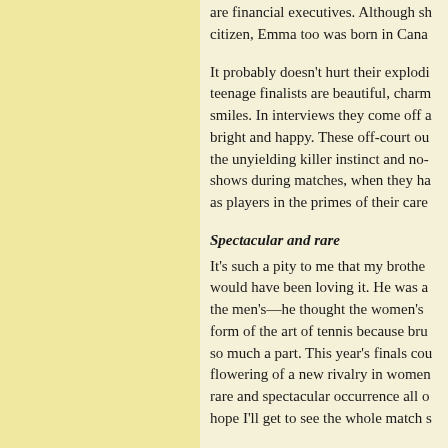are financial executives. Although sh citizen, Emma too was born in Cana
It probably doesn't hurt their explodi teenage finalists are beautiful, charm smiles. In interviews they come off a bright and happy. These off-court ou the unyielding killer instinct and no- shows during matches, when they ha as players in the primes of their care
Spectacular and rare
It's such a pity to me that my brothe would have been loving it. He was a the men's—he thought the women's form of the art of tennis because bru so much a part. This year's finals cou flowering of a new rivalry in women rare and spectacular occurrence all o hope I'll get to see the whole match s